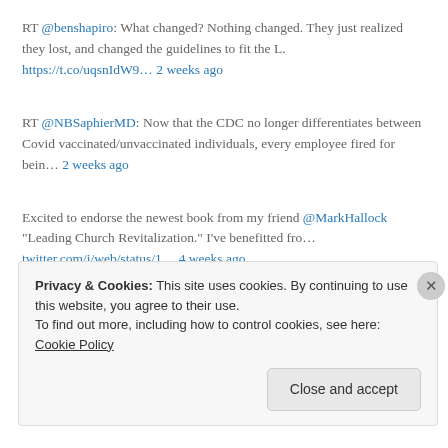RT @benshapiro: What changed? Nothing changed. They just realized they lost, and changed the guidelines to fit the L. https://t.co/uqsnIdW9… 2 weeks ago
RT @NBSaphierMD: Now that the CDC no longer differentiates between Covid vaccinated/unvaccinated individuals, every employee fired for bein… 2 weeks ago
Excited to endorse the newest book from my friend @MarkHallock "Leading Church Revitalization." I've benefitted fro… twitter.com/i/web/status/1… 4 weeks ago
Lap dog??? https://t.co/9TpPFpenhW 1 month ago
Privacy & Cookies: This site uses cookies. By continuing to use this website, you agree to their use.
To find out more, including how to control cookies, see here: Cookie Policy
Close and accept